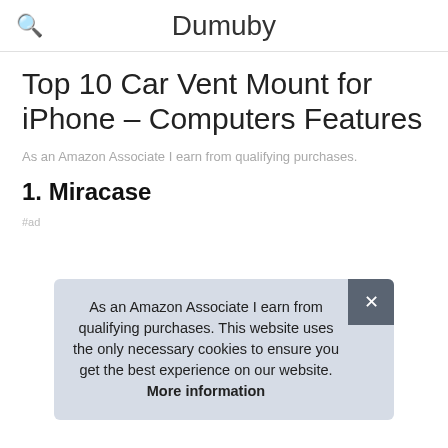Dumuby
Top 10 Car Vent Mount for iPhone – Computers Features
As an Amazon Associate I earn from qualifying purchases.
1. Miracase
#ad
As an Amazon Associate I earn from qualifying purchases. This website uses the only necessary cookies to ensure you get the best experience on our website. More information